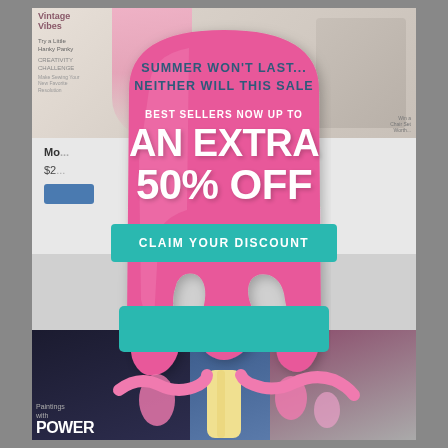[Figure (infographic): A promotional popup overlay styled as a melting pink popsicle/ice cream bar shape over a blurred magazine website background. The popsicle contains sale text: 'SUMMER WON'T LAST... NEITHER WILL THIS SALE', 'BEST SELLERS NOW UP TO', 'AN EXTRA 50% OFF', and a teal 'CLAIM YOUR DISCOUNT' button. The background shows magazine covers and partial website UI.]